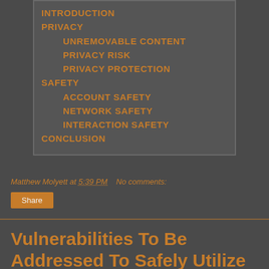INTRODUCTION
PRIVACY
UNREMOVABLE CONTENT
PRIVACY RISK
PRIVACY PROTECTION
SAFETY
ACCOUNT SAFETY
NETWORK SAFETY
INTERACTION SAFETY
CONCLUSION
Matthew Molyett at 5:39 PM   No comments:
Vulnerabilities To Be Addressed To Safely Utilize Online Social Networking: Privacy Intro